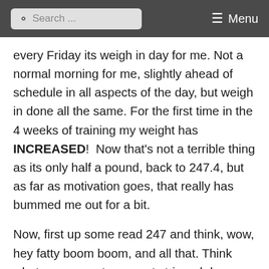Search ... Menu
every Friday its weigh in day for me. Not a normal morning for me, slightly ahead of schedule in all aspects of the day, but weigh in done all the same. For the first time in the 4 weeks of training my weight has INCREASED!  Now that's not a terrible thing as its only half a pound, back to 247.4, but as far as motivation goes, that really has bummed me out for a bit.
Now, first up some read 247 and think, wow, hey fatty boom boom, and all that. Think what you may, at my most stripped down ever I was a notch under 200, and in fighting fit form I was 220. Reality is 220-230 is a happy place for me. Im hardly a small frame,